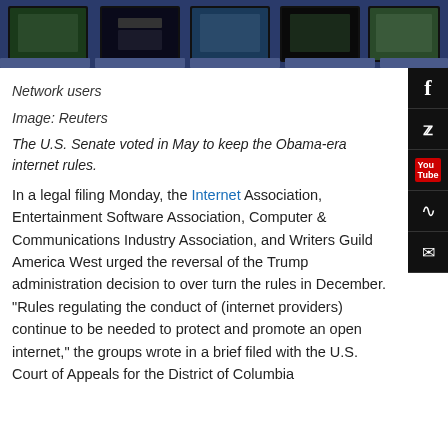[Figure (photo): Row of airplane seat-back screens/monitors viewed from behind, blue seat backs visible, showing various screens]
Network users
Image: Reuters
The U.S. Senate voted in May to keep the Obama-era internet rules.
In a legal filing Monday, the Internet Association, Entertainment Software Association, Computer & Communications Industry Association, and Writers Guild America West urged the reversal of the Trump administration decision to over turn the rules in December. "Rules regulating the conduct of (internet providers) continue to be needed to protect and promote an open internet," the groups wrote in a brief filed with the U.S. Court of Appeals for the District of Columbia.